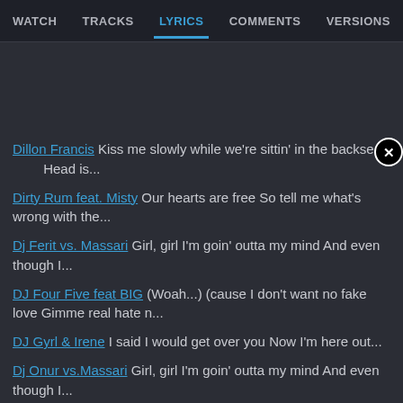WATCH | TRACKS | LYRICS (active) | COMMENTS | VERSIONS
Dillon Francis Kiss me slowly while we're sittin' in the backse… Head is...
Dirty Rum feat. Misty Our hearts are free So tell me what's wrong with the...
Dj Ferit vs. Massari Girl, girl I'm goin' outta my mind And even though I...
DJ Four Five feat BIG (Woah...) (cause I don't want no fake love Gimme real hate n...
DJ Gyrl & Irene I said I would get over you Now I'm here out...
Dj Onur vs.Massari Girl, girl I'm goin' outta my mind And even though I...
Dolly Parton They say that it's a matter of trusting Before love has...
Dolly Parton & Kenny Rogers They say that it's a matter of